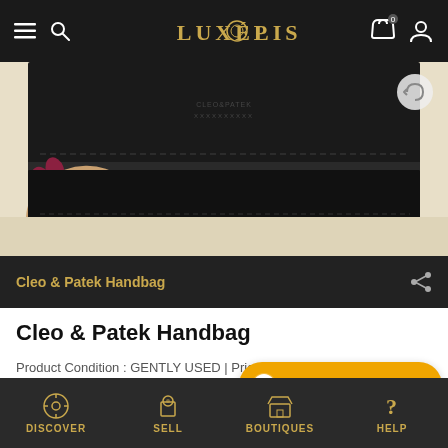LUXÉPOLIS
[Figure (photo): Close-up photo of a black leather handbag being held by a hand with dark red nail polish, showing the interior lining and stitching detail. Background is cream/beige fabric.]
Cleo & Patek Handbag
Cleo & Patek Handbag
Product Condition : GENTLY USED | Price View : As Low as | brand : Cleo & Patek |
Whatsapp Concierge
DISCOVER   SELL   BOUTIQUES   HELP